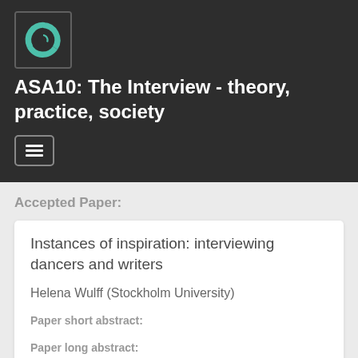[Figure (logo): ASA conference website logo — dark background with teal/green spiral swirl icon]
ASA10: The Interview - theory, practice, society
[Figure (other): Navigation hamburger menu button (three horizontal bars) in a rounded rectangle border]
Accepted Paper:
Instances of inspiration: interviewing dancers and writers
Helena Wulff (Stockholm University)
Paper short abstract:
Paper long abstract:
As society changes, so does anthropology. To capture contemporary issues, new